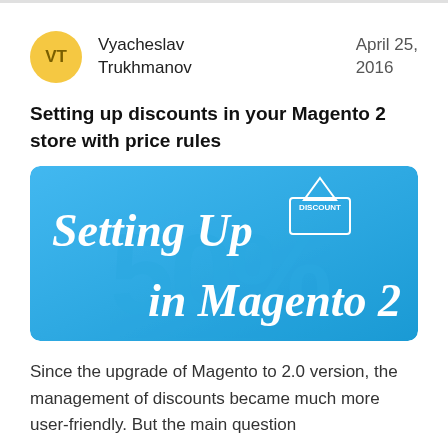Vyacheslav Trukhmanov    April 25, 2016
Setting up discounts in your Magento 2 store with price rules
[Figure (illustration): Promotional banner image with blue background showing text 'Setting Up DISCOUNT in Magento 2' with '50%' watermark and decorative price tag graphic]
Since the upgrade of Magento to 2.0 version, the management of discounts became much more user-friendly. But the main question